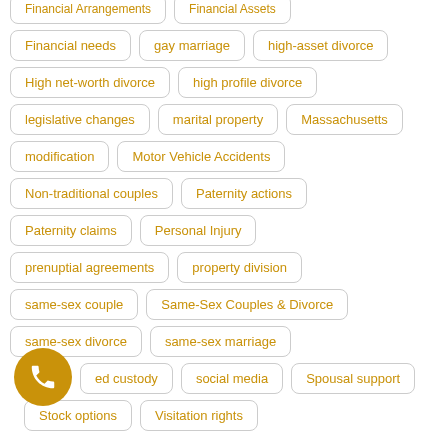Financial needs
gay marriage
high-asset divorce
High net-worth divorce
high profile divorce
legislative changes
marital property
Massachusetts
modification
Motor Vehicle Accidents
Non-traditional couples
Paternity actions
Paternity claims
Personal Injury
prenuptial agreements
property division
same-sex couple
Same-Sex Couples & Divorce
same-sex divorce
same-sex marriage
shared custody
social media
Spousal support
Stock options
Visitation rights